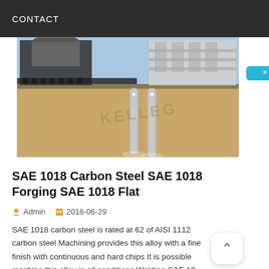CONTACT
[Figure (screenshot): 3D rendered engineering diagram showing pile foundations being driven into sandy soil, with industrial structures visible above ground. A watermark reading 'KELLEG' is visible. White cross markers visible on the piles.]
SAE 1018 Carbon Steel SAE 1018 Forging SAE 1018 Flat
Admin   2016-06-29
SAE 1018 carbon steel is rated at 62 of AISI 1112 carbon steel Machining provides this alloy with a fine finish with continuous and hard chips It is possible machine this alloy in all conditions Welding SAE 10 carbon steel can be welded using most of the